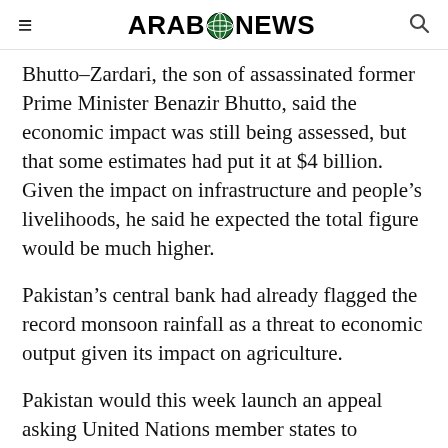ARAB NEWS
Bhutto-Zardari, the son of assassinated former Prime Minister Benazir Bhutto, said the economic impact was still being assessed, but that some estimates had put it at $4 billion. Given the impact on infrastructure and people's livelihoods, he said he expected the total figure would be much higher.
Pakistan's central bank had already flagged the record monsoon rainfall as a threat to economic output given its impact on agriculture.
Pakistan would this week launch an appeal asking United Nations member states to contribute to relief efforts, Bhutto-Zardari said, and the country needed to look at how it would